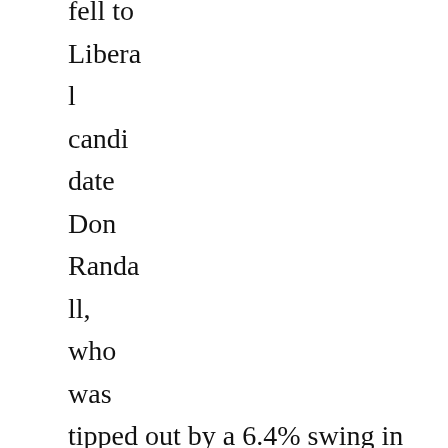fell to Liberal candidate Don Randall, who was tipped out by a 6.4% swing in 1998 before returning at the 2001 election in his present capacity as member for Canning. The new Labor member for Swan was former farmer and prison officer Kim Wilkie, who barely survived a poor performance by Labor in Perth at the 2004